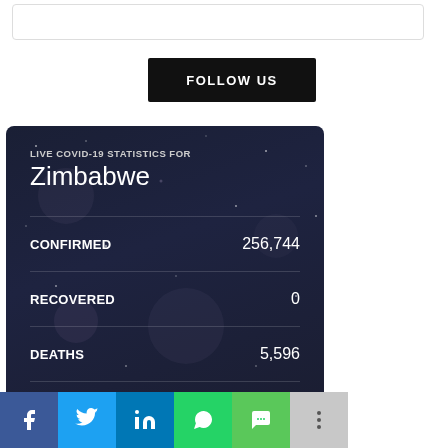[Figure (screenshot): Top search/input box area]
FOLLOW US
[Figure (infographic): Live COVID-19 Statistics for Zimbabwe card showing CONFIRMED: 256,744, RECOVERED: 0, DEATHS: 5,596 on dark starfield background]
[Figure (infographic): Social share bar with Facebook, Twitter, LinkedIn, WhatsApp, SMS, and More buttons]